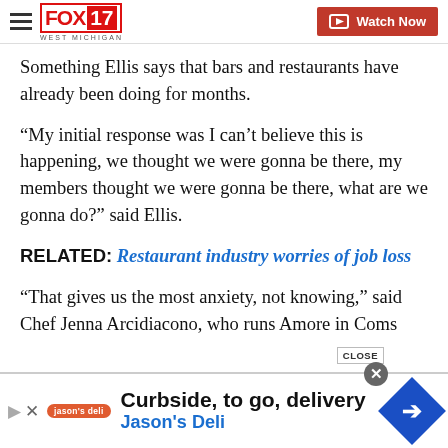FOX 17 WEST MICHIGAN | Watch Now
Something Ellis says that bars and restaurants have already been doing for months.
“My initial response was I can’t believe this is happening, we thought we were gonna be there, my members thought we were gonna be there, what are we gonna do?” said Ellis.
RELATED: Restaurant industry worries of job loss
“That gives us the most anxiety, not knowing,” said Chef Jenna Arcidiacono, who runs Amore in Comstock Park
[Figure (screenshot): Jason’s Deli advertisement banner: Curbside, to go, delivery — Jason’s Deli]